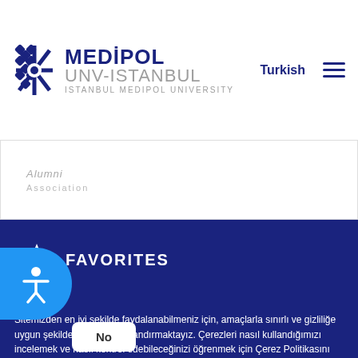[Figure (logo): Istanbul Medipol University logo with star/cross icon and text MEDIPOL UNV-ISTANBUL ISTANBUL MEDIPOL UNIVERSITY]
Turkish
Alumni Association
FAVORITES
Sitemizden en iyi şekilde faydalanabilmeniz için, amaçlarla sınırlı ve gizliliğe uygun şekilde çerez konumlandırmaktayız. Çerezleri nasıl kullandığımızı incelemek ve nasıl kontrol edebileceğinizi öğrenmek için Çerez Politikasını inceleyiniz. More info
[Figure (other): Accessibility button (blue circle with person icon)]
No